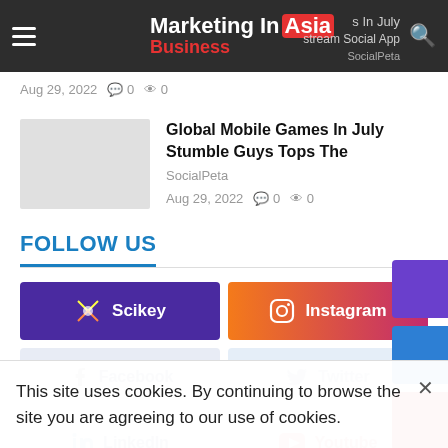Marketing In Asia Business
Aug 29, 2022  0  0
Global Mobile Games In Julyð Stumble Guys Tops The
SocialPeta
Aug 29, 2022  0  0
FOLLOW US
Scikey
Instagram
Facebook
Twitter
LinkedIn
Youtube
This site uses cookies. By continuing to browse the site you are agreeing to our use of cookies.